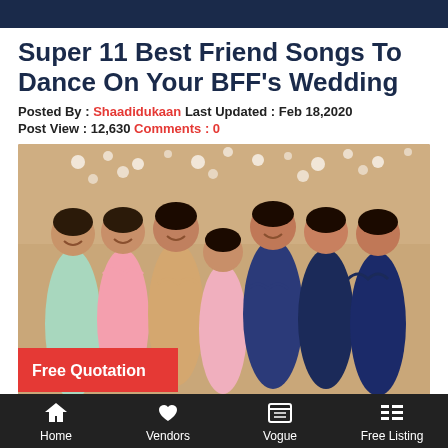Super 11 Best Friend Songs To Dance On Your BFF's Wedding
Posted By : Shaadidukaan Last Updated : Feb 18,2020
Post View : 12,630 Comments : 0
[Figure (photo): Group of women in Indian traditional attire posing together at a wedding, making heart shapes with their hands. A 'Free Quotation' button overlay is visible at the bottom left.]
Home  Vendors  Vogue  Free Listing